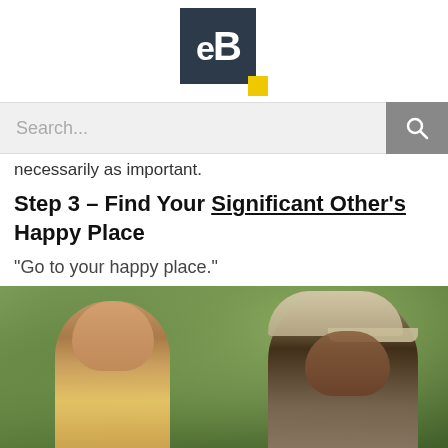[Figure (logo): eB logo — dark navy square with white 'eB' text and a yellow accent square at bottom right]
Search...
necessarily as important.
Step 3 – Find Your Significant Other's Happy Place
“Go to your happy place.”
[Figure (photo): Movie scene showing two men outdoors on a golf course. The man on the left has short dark hair and looks distressed. The man on the right wears a beige flat cap and looks to be speaking or coaching.]